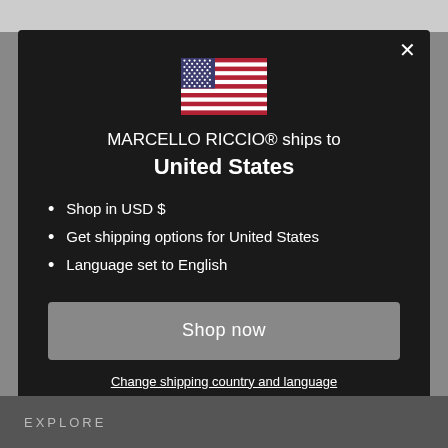[Figure (screenshot): Modal dialog on a dark background showing a US flag, shipping information, and action buttons for Marcello Riccio e-commerce site]
MARCELLO RICCIO® ships to United States
Shop in USD $
Get shipping options for United States
Language set to English
Shop now
Change shipping country and language
EXPLORE